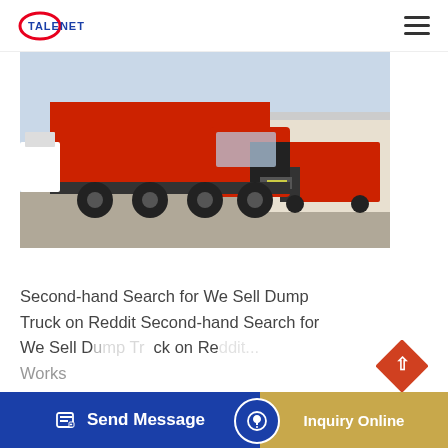TALENET
[Figure (photo): Red dump truck (HOWO) parked in a lot with other vehicles and a warehouse in the background]
Second-hand Search for We Sell Dump Truck on Reddit Second-hand Search for We Sell Dump Truck on Reddit... Works Dump Trucks. A dump truck isn't much
Send Message | Inquiry Online